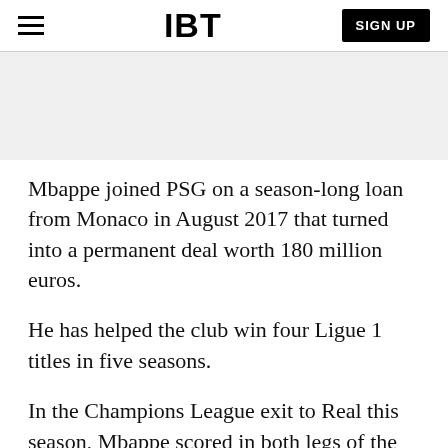IBT | SIGN UP
[Figure (other): Advertisement/banner placeholder area with light gray background]
Mbappe joined PSG on a season-long loan from Monaco in August 2017 that turned into a permanent deal worth 180 million euros.
He has helped the club win four Ligue 1 titles in five seasons.
In the Champions League exit to Real this season, Mbappe scored in both legs of the tie, but could not